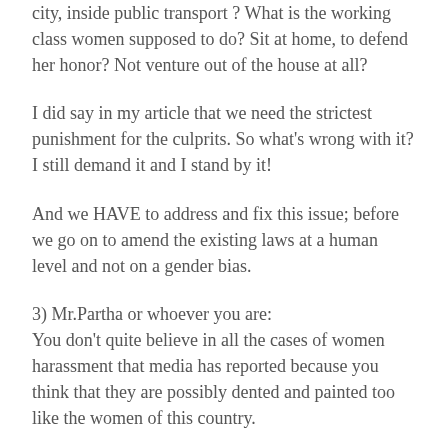city, inside public transport ? What is the working class women supposed to do? Sit at home, to defend her honor? Not venture out of the house at all?
I did say in my article that we need the strictest punishment for the culprits. So what's wrong with it? I still demand it and I stand by it!
And we HAVE to address and fix this issue; before we go on to amend the existing laws at a human level and not on a gender bias.
3) Mr.Partha or whoever you are:
You don't quite believe in all the cases of women harassment that media has reported because you think that they are possibly dented and painted too like the women of this country.
You seem to be a spurned lover whose advances got a